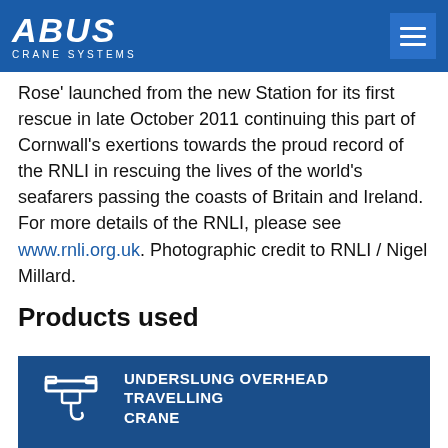ABUS CRANE SYSTEMS
Rose' launched from the new Station for its first rescue in late October 2011 continuing this part of Cornwall's exertions towards the proud record of the RNLI in rescuing the lives of the world's seafarers passing the coasts of Britain and Ireland. For more details of the RNLI, please see www.rnli.org.uk. Photographic credit to RNLI / Nigel Millard.
Products used
[Figure (illustration): Underslung overhead travelling crane icon — white line drawing of a crane trolley with hook, on dark blue background]
UNDERSLUNG OVERHEAD TRAVELLING CRANE